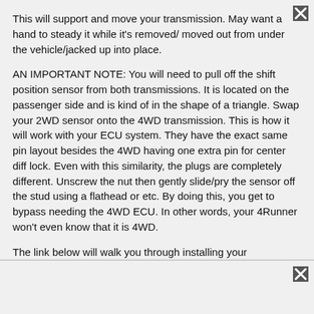This will support and move your transmission. May want a hand to steady it while it's removed/ moved out from under the vehicle/jacked up into place.
AN IMPORTANT NOTE: You will need to pull off the shift position sensor from both transmissions. It is located on the passenger side and is kind of in the shape of a triangle. Swap your 2WD sensor onto the 4WD transmission. This is how it will work with your ECU system. They have the exact same pin layout besides the 4WD having one extra pin for center diff lock. Even with this similarity, the plugs are completely different. Unscrew the nut then gently slide/pry the sensor off the stud using a flathead or etc. By doing this, you get to bypass needing the 4WD ECU. In other words, your 4Runner won't even know that it is 4WD.
The link below will walk you through installing your transmission.